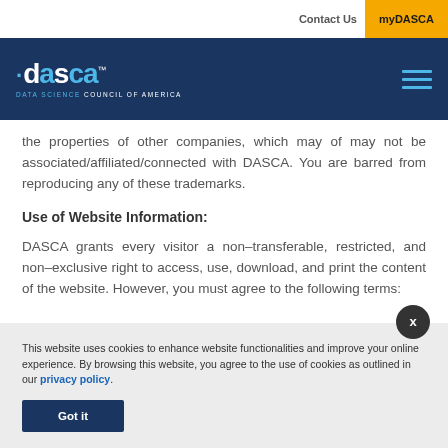Contact Us | myDASCA
[Figure (logo): DASCA - Data Science Council of America logo on dark navy blue header bar with hamburger menu icon]
the properties of other companies, which may or may not be associated/affiliated/connected with DASCA. You are barred from reproducing any of these trademarks.
Use of Website Information:
DASCA grants every visitor a non–transferable, restricted, and non–exclusive right to access, use, download, and print the content of the website. However, you must agree to the following terms:
This website uses cookies to enhance website functionalities and improve your online experience. By browsing this website, you agree to the use of cookies as outlined in our privacy policy.
Got it